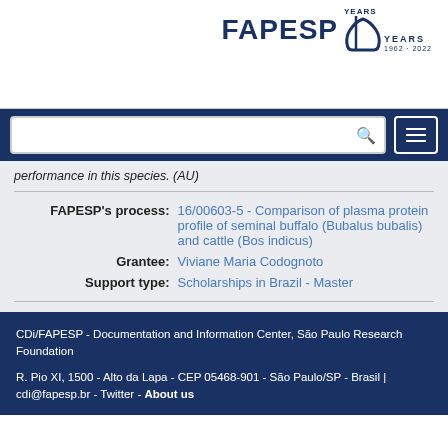[Figure (logo): FAPESP 60 Years 1962-2022 logo in dark blue]
performance in this species. (AU)
| FAPESP's process: | 16/00603-5 - Comparison of plasma protein profile of seminal buffalo (Bubalus bubalis) and cattle (Bos indicus) |
| Grantee: | Viviane Maria Codognoto |
| Support type: | Scholarships in Brazil - Master |
CDi/FAPESP - Documentation and Information Center, São Paulo Research Foundation
R. Pio XI, 1500 - Alto da Lapa - CEP 05468-901 - São Paulo/SP - Brasil | cdi@fapesp.br - Twitter - About us